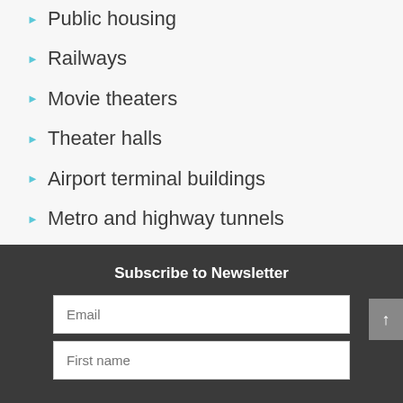Public housing
Railways
Movie theaters
Theater halls
Airport terminal buildings
Metro and highway tunnels
Subscribe to Newsletter
Email
First name